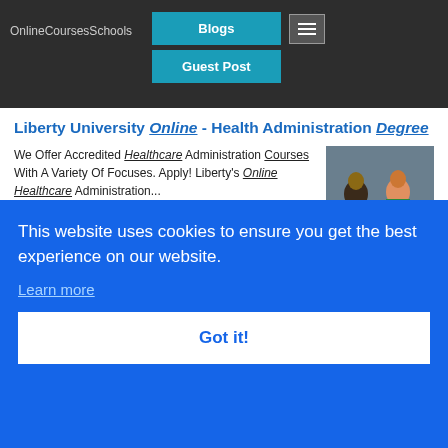OnlineCoursesSchools | Blogs | Guest Post
Liberty University Online - Health Administration Degree
We Offer Accredited Healthcare Administration Courses With A Variety Of Focuses. Apply! Liberty's Online Healthcare Administration...
[Figure (photo): Two professionals sitting at a table with a laptop, man in suit and woman in green top]
Deal 65% off First Boon. & Mil...
This website uses cookies to ensure you get the best experience on our website. Learn more
Got it!
in-demand field